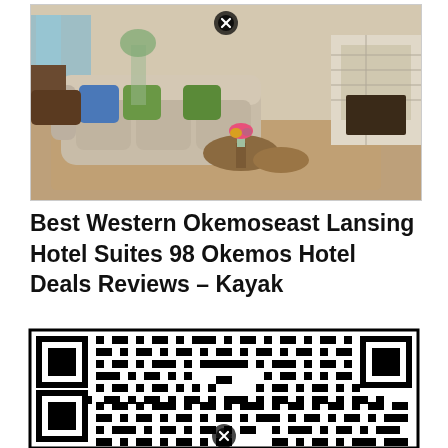[Figure (photo): Hotel lobby interior photo showing a curved sofa with blue and green pillows, round wooden coffee tables, and a stone fireplace in the background. A close button (X) is shown at the top center of the image.]
Best Western Okemoseast Lansing Hotel Suites 98 Okemos Hotel Deals Reviews – Kayak
[Figure (other): QR code image in black and white, with a close button (X) at the bottom center.]